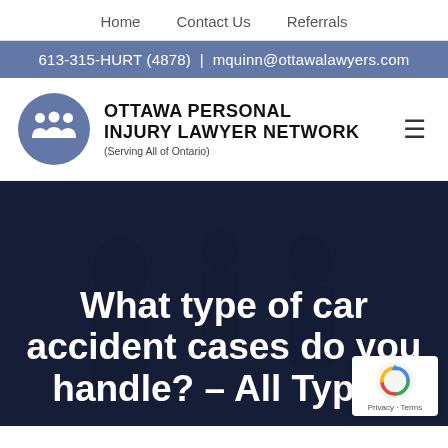Home | Contact Us | Referrals
613-315-HURT (4878) | mquinn@ottawalawyers.com
[Figure (logo): Ottawa Personal Injury Lawyer Network logo with blue circle icon showing three figures, text reads OTTAWA PERSONAL INJURY LAWYER NETWORK (Serving All of Ontario)]
What type of car accident cases do you handle? – All Types